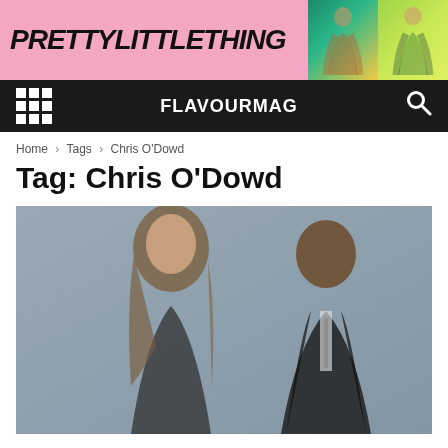[Figure (logo): PrettyLittleThing advertisement banner with pink background, bold black italic logo text, and two fashion model photos on teal and lime green backgrounds]
FLAVOURMAG
Home > Tags > Chris O'Dowd
Tag: Chris O'Dowd
[Figure (photo): Two people posed against a gray background: a woman with long auburn hair in dark clothing on the left, and a man in a dark suit with tie on the right]